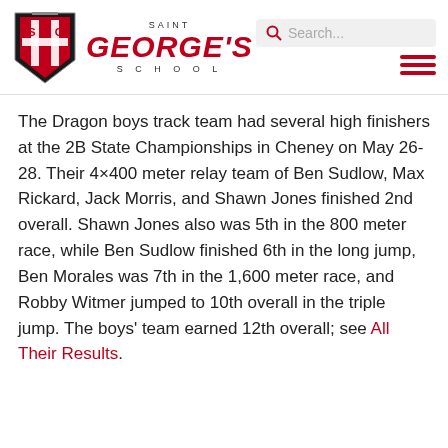Saint George's School — navigation header with logo and search bar
The Dragon boys track team had several high finishers at the 2B State Championships in Cheney on May 26-28. Their 4×400 meter relay team of Ben Sudlow, Max Rickard, Jack Morris, and Shawn Jones finished 2nd overall. Shawn Jones also was 5th in the 800 meter race, while Ben Sudlow finished 6th in the long jump, Ben Morales was 7th in the 1,600 meter race, and Robby Witmer jumped to 10th overall in the triple jump. The boys' team earned 12th overall; see All Their Results.